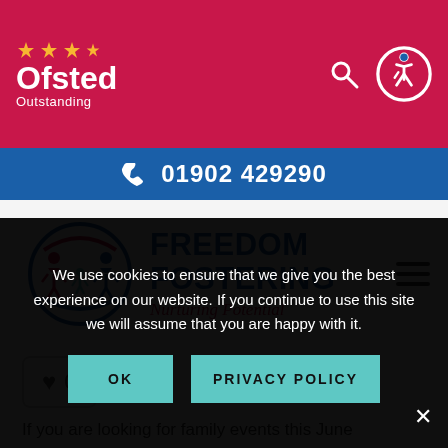[Figure (logo): Ofsted Outstanding logo with stars and text on crimson background, with search icon and accessibility icon]
01902 429290
[Figure (logo): Freedom Fostering logo with circular icon of people figures and blue text reading FREEDOM FOSTERING Nurturing Potential]
0
If you are looking for family events this June
We use cookies to ensure that we give you the best experience on our website. If you continue to use this site we will assume that you are happy with it.
OK
PRIVACY POLICY